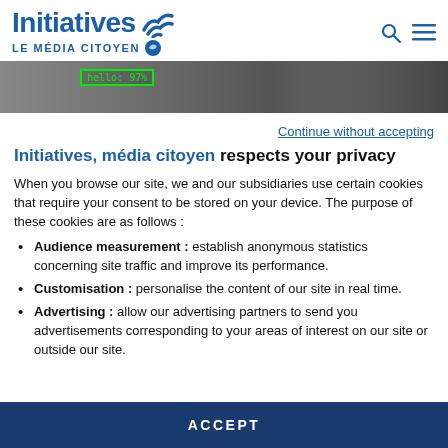Initiatives LE MÉDIA CITOYEN
[Figure (photo): Hero image showing a face recognition scene with a green bounding box labeled 'hello: 97%']
Continue without accepting
Initiatives, média citoyen respects your privacy
When you browse our site, we and our subsidiaries use certain cookies that require your consent to be stored on your device. The purpose of these cookies are as follows :
Audience measurement : establish anonymous statistics concerning site traffic and improve its performance.
Customisation : personalise the content of our site in real time.
Advertising : allow our advertising partners to send you advertisements corresponding to your areas of interest on our site or outside our site.
ACCEPT